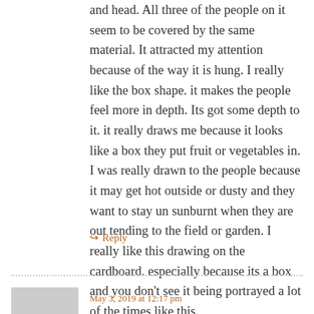and head. All three of the people on it seem to be covered by the same material. It attracted my attention because of the way it is hung. I really like the box shape. it makes the people feel more in depth. Its got some depth to it. it really draws me because it looks like a box they put fruit or vegetables in. I was really drawn to the people because it may get hot outside or dusty and they want to stay un sunburnt when they are out tending to the field or garden. I really like this drawing on the cardboard. especially because its a box and you don't see it being portrayed a lot of the times like this.
↪ Reply
May 3, 2019 at 12:17 pm